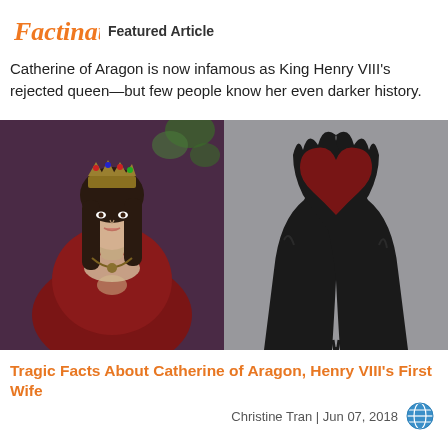[Figure (logo): Factinate logo in orange script font]
Featured Article
Catherine of Aragon is now infamous as King Henry VIII's rejected queen—but few people know her even darker history.
[Figure (photo): Two side-by-side photos: left shows a woman dressed as a medieval queen wearing a crown and red velvet dress; right shows two dark hands coated in black liquid forming a heart shape]
Tragic Facts About Catherine of Aragon, Henry VIII's First Wife
Christine Tran | Jun 07, 2018